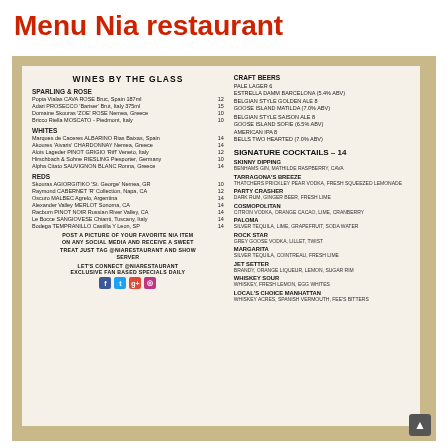Menu Nia restaurant
[Figure (photo): Photo of Nia restaurant menu showing Wines by the Glass section on the left and Craft Beers and Signature Cocktails on the right]
WINES BY THE GLASS
SPARLING & ROSE
Popia Vialas CAVA ROSE Bruc, Spain 187ml  12
Adari PROSECCO 'Bariser' Brut, Italy 375ml  15
Domaine Skouras 'ZOE' ROSE Nemea, Greece  10
Bricco Riella MOSCATO - Piedmont, Italy  10
WHITES
Marques de Caceres ALBARINO Rias Baixas, Spain  14
Akoures 'Aivaris' CHARDONNAY Nemea, Greece  14
Alois Lageder PINOT GRIGIO 'Riff' Veneto, Italy  12
Hirschbach & Sohne RIESLING Piesporter, Germany  10
Alpha Citato SAUVIGNON BLANC Ronna, Greece  14
REDS
Skouras AGIORGITIKO 'St. George' Nemea, GR  10
Raymond CABERNET 'R' Collection, Napa, CA  12
Oscuro MALBEC Agrelo, Argentina  14
Alexander Valley MERLOT Sonoma, CA  14
Racburn PINOT NOIR Russian River Valley, CA  14
Le Bocce SANGIOVESE Chianti, Tuscany, Italy  14
Bodega TEMPRANILLO Castilla Y Leon, SP  14
CRAFT BEERS
PALE LAGER 6
ESTRELLA DAMM BARCELONA (5.4% ABV)
BELGIAN STYLE GOLDEN ALE  8
GOOSE ISLAND MATILDA (7.0% ABV)
BELGIAN STYLE SAISON ALE  8
GOOSE ISLAND SOFIE (6.5% ABV)
AMERICAN IPA  8
BELLS TWO HEARTED (7.0% ABV)
SIGNATURE COCKTAILS – 14
SKINNY DIPPING — BENHAMS GIN, MATHILDE RASPBERRY, CAVA
TARRAGONA'S BREEZE — THATCHERS PRICKLEY PEAR VODKA, FRESH SQUEEZED LEMONADE
PARTY CRASHER — DARK RUM, GINGER BEER, FRESH LIME
COSMOPOLITAN — CITRON VODKA, ORANGE CACAO, LIME, CRANBERRY
PALOMA — SILVER TEQUILA, LIME, GRAPEFRUIT, SODA WATER
ROCK STAR — GREY GOOSE VODKA, LILLET, TWIST
MARGARITA — SILVER TEQUILA, COINTREAU, FRESH LIME
JET SETTER — BRANDY, ORANGE LIQUEUR, LEMON, SUGAR RIM
WHISKEY SOUR — WHISKEY, FRESH LEMON, EGG WHITES
LOCAL'S CHOICE MANHATTAN — WHISKEY ACRES, SPANISH VERMOUTH, FEE'S BITTERS
POST A PICTURE OF YOUR FAVORITE NIA ITEM ON ANY SOCIAL MEDIA AND RECEIVE A SWEET TREAT JUST TAG @NIARESTAURANT AND SHOW SERVER
LET'S CONNECT @NIARESTAURANT
EXCLUSIVE FAN BASED SPECIALS DAILY